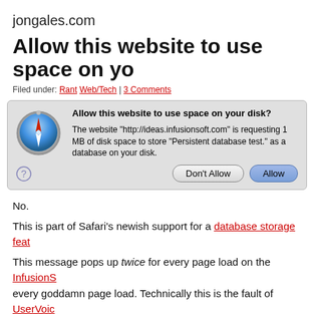jongales.com
Allow this website to use space on yo...
Filed under: Rant, Web/Tech | 3 Comments
[Figure (screenshot): macOS Safari dialog box asking 'Allow this website to use space on your disk?' with Safari compass icon, body text about http://ideas.infusionsoft.com requesting 1 MB of disk space to store Persistent database test, and buttons: Don't Allow and Allow.]
No.
This is part of Safari's newish support for a database storage feat...
This message pops up twice for every page load on the InfusionS... every goddamn page load. Technically this is the fault of UserVoic... their logo on the page right?)